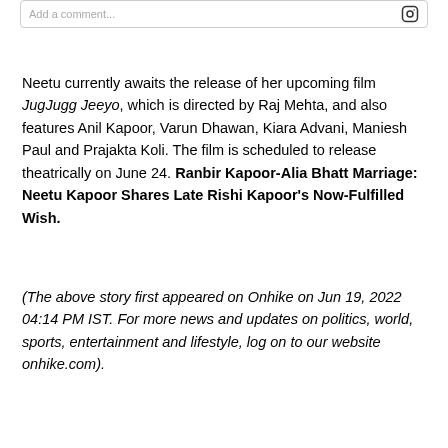Add a comment...
Neetu currently awaits the release of her upcoming film JugJugg Jeeyo, which is directed by Raj Mehta, and also features Anil Kapoor, Varun Dhawan, Kiara Advani, Maniesh Paul and Prajakta Koli. The film is scheduled to release theatrically on June 24. Ranbir Kapoor-Alia Bhatt Marriage: Neetu Kapoor Shares Late Rishi Kapoor's Now-Fulfilled Wish.
(The above story first appeared on Onhike on Jun 19, 2022 04:14 PM IST. For more news and updates on politics, world, sports, entertainment and lifestyle, log on to our website onhike.com).